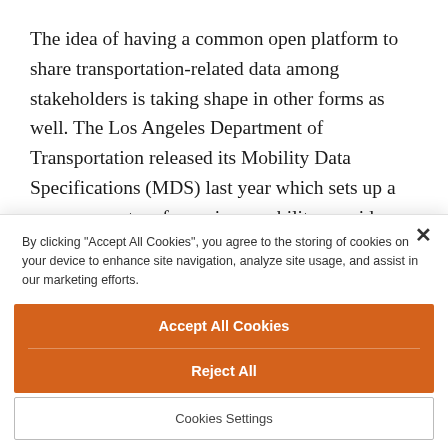The idea of having a common open platform to share transportation-related data among stakeholders is taking shape in other forms as well. The Los Angeles Department of Transportation released its Mobility Data Specifications (MDS) last year which sets up a common system for various mobility providers like app-enabled e-scooters and bikes to share mobility data with the city.
By clicking "Accept All Cookies", you agree to the storing of cookies on your device to enhance site navigation, analyze site usage, and assist in our marketing efforts.
Accept All Cookies
Reject All
Cookies Settings